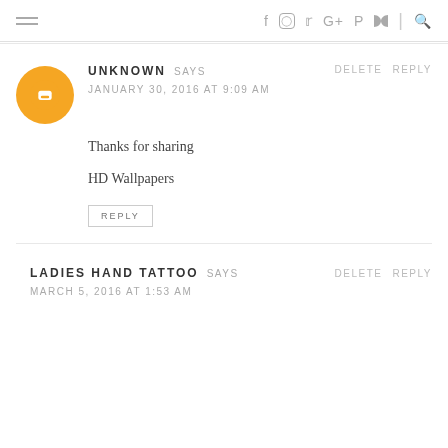≡  f  ⊙  t  G+  P  ))  |  🔍
UNKNOWN SAYS
JANUARY 30, 2016 AT 9:09 AM
Thanks for sharing
HD Wallpapers
REPLY
LADIES HAND TATTOO SAYS
MARCH 5, 2016 AT 1:53 AM